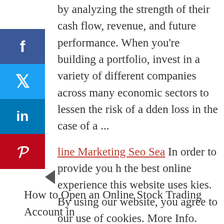the overall value of the business, you can assess it by analyzing the strength of their cash flow, revenue, and future performance. When you're building a portfolio, invest in a variety of different companies across many economic sectors to lessen the risk of a sudden loss in the case of a ...
[Figure (other): Social media sharing sidebar with Facebook, Twitter, LinkedIn, and Pinterest buttons and a collapse arrow tab]
Online Marketing Seo Sea In order to provide you with the best online experience this website uses cookies. By using our website, you agree to our use of cookies. More Info. sending you on a desperate scramble to locate the pause button buried somewhere within a sea of open tabs. Loud, obtrusive autoplay is often regarded as one of
How to Open an Online Stock Trading Account in